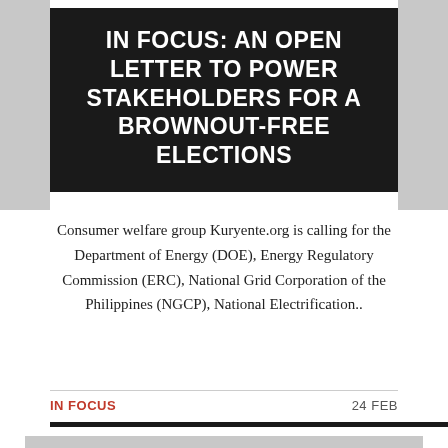IN FOCUS: AN OPEN LETTER TO POWER STAKEHOLDERS FOR A BROWNOUT-FREE ELECTIONS
Consumer welfare group Kuryente.org is calling for the Department of Energy (DOE), Energy Regulatory Commission (ERC), National Grid Corporation of the Philippines (NGCP), National Electrification..
IN FOCUS   24 FEB
[Figure (photo): Gray placeholder image block]